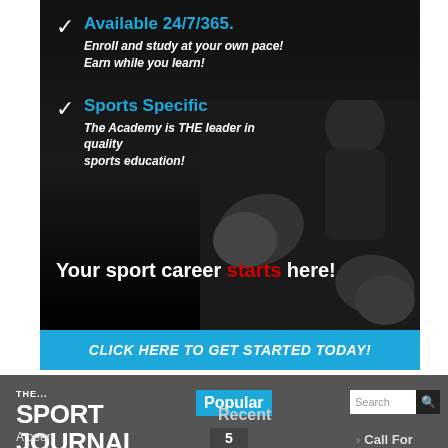[Figure (infographic): Sports academy advertisement with boxer image on dark background. Features checklist items and call-to-action.]
Available 24/7/365. Enroll and study at your own pace! Earn while you learn!
Sports Specific. The Academy is THE leader in quality sports education!
Your sport career starts here!
CLICK HERE TO GET STARTED TODAY!
[Figure (logo): The Sport Journal logo in white text on dark gray background]
Popular
Recent
A peer-
5
Call For
Search